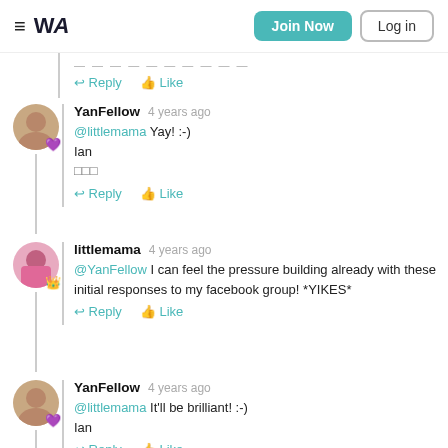WA — Join Now | Log in
Reply   Like
YanFellow  4 years ago
@littlemama Yay! :-)
Ian
□□□
Reply   Like
littlemama  4 years ago
@YanFellow I can feel the pressure building already with these initial responses to my facebook group! *YIKES*
Reply   Like
YanFellow  4 years ago
@littlemama It'll be brilliant! :-)
Ian
Reply   Like